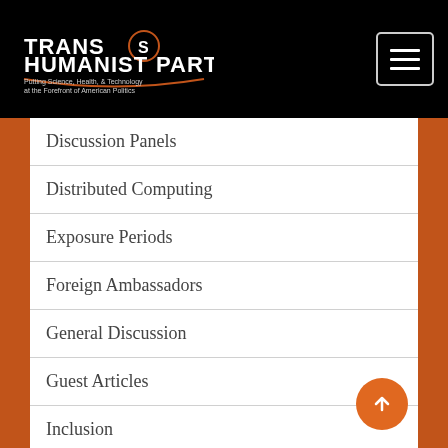[Figure (logo): Transhumanist Party logo with circular emblem and tagline 'Putting Science, Health, & Technology at the Forefront of American Politics']
Discussion Panels
Distributed Computing
Exposure Periods
Foreign Ambassadors
General Discussion
Guest Articles
Inclusion
Interviews
Official Ballots